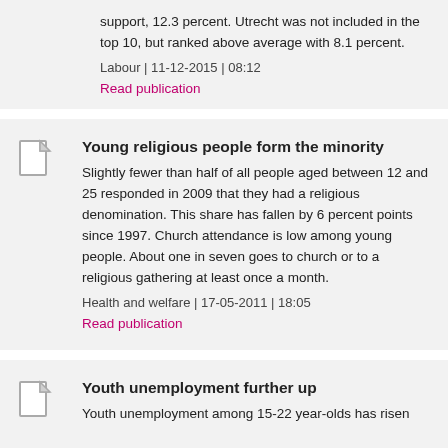support, 12.3 percent. Utrecht was not included in the top 10, but ranked above average with 8.1 percent.
Labour | 11-12-2015 | 08:12
Read publication
Young religious people form the minority
Slightly fewer than half of all people aged between 12 and 25 responded in 2009 that they had a religious denomination. This share has fallen by 6 percent points since 1997. Church attendance is low among young people. About one in seven goes to church or to a religious gathering at least once a month.
Health and welfare | 17-05-2011 | 18:05
Read publication
Youth unemployment further up
Youth unemployment among 15-22 year-olds has risen